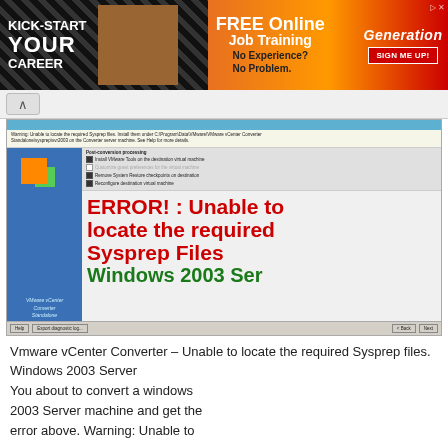[Figure (other): Advertisement banner: KICK-START YOUR CAREER / FREE Online Job Training / No Experience? No Problem. / Generation / SIGN ME UP!]
[Figure (screenshot): Screenshot of VMware vCenter Converter Standalone showing configuration options panel and a large red error text: ERROR! : Unable to locate the required Sysprep Files Windows 2003 Ser[ver]]
Vmware vCenter Converter – Unable to locate the required Sysprep files. Windows 2003 Server
You about to convert a windows 2003 Server machine and get the error above. Warning: Unable to